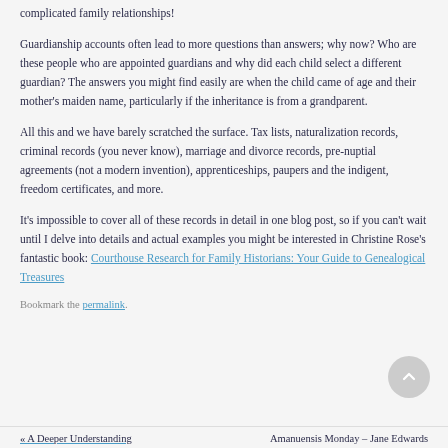complicated family relationships!
Guardianship accounts often lead to more questions than answers; why now? Who are these people who are appointed guardians and why did each child select a different guardian? The answers you might find easily are when the child came of age and their mother's maiden name, particularly if the inheritance is from a grandparent.
All this and we have barely scratched the surface. Tax lists, naturalization records, criminal records (you never know), marriage and divorce records, pre-nuptial agreements (not a modern invention), apprenticeships, paupers and the indigent, freedom certificates, and more.
It’s impossible to cover all of these records in detail in one blog post, so if you can’t wait until I delve into details and actual examples you might be interested in Christine Rose’s fantastic book: Courthouse Research for Family Historians: Your Guide to Genealogical Treasures
Bookmark the permalink.
« A Deeper Understanding | Amanuensis Monday – Jane Edwards